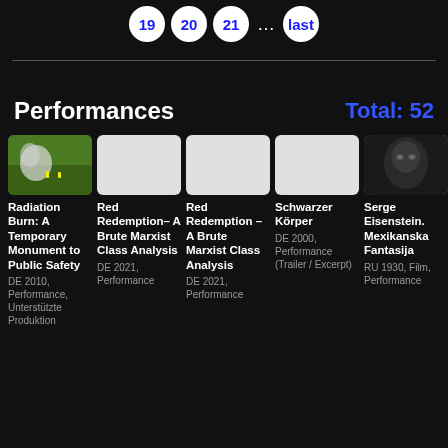19 20 21 ... last
Performances
Total: 52
[Figure (photo): Thumbnail image of Radiation Burn performance, green field with smoke]
Radiation Burn: A Temporary Monument to Public Safety
DE 2010, Performance, Unterstützte Produktion
[Figure (photo): White/blank thumbnail for Red Redemption]
Red Redemption– A Brute Marxist Class Analysis
DE 2021, Performance
[Figure (photo): White/blank thumbnail for Red Redemption duplicate]
Red Redemption – A Brute Marxist Class Analysis
DE 2021, Performance
[Figure (photo): White/blank thumbnail for Schwarzer Körper]
Schwarzer Körper
DE 2000, Performance (Trailer / Excerpt)
[Figure (photo): Dark thumbnail showing face closeup for Serge Eisenstein]
Serge Eisenstein. Mexikanska Fantasija
RU 1930, Film, Performance